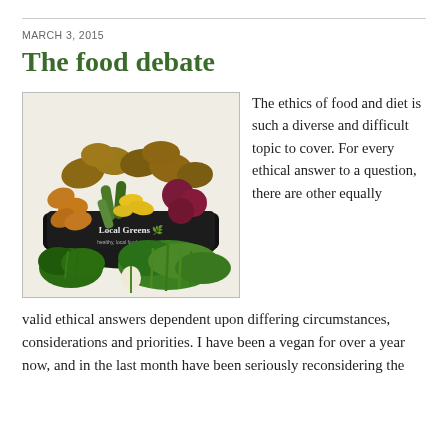MARCH 3, 2015
The food debate
[Figure (photo): A basket labeled 'Local Greens' filled with vegetables including potatoes, zucchini, yellow squash, red onions, and sweet potatoes, with fresh herbs including parsley and celery laid in front.]
The ethics of food and diet is such a diverse and difficult topic to cover. For every ethical answer to a question, there are other equally valid ethical answers dependent upon differing circumstances, considerations and priorities. I have been a vegan for over a year now, and in the last month have been seriously reconsidering the